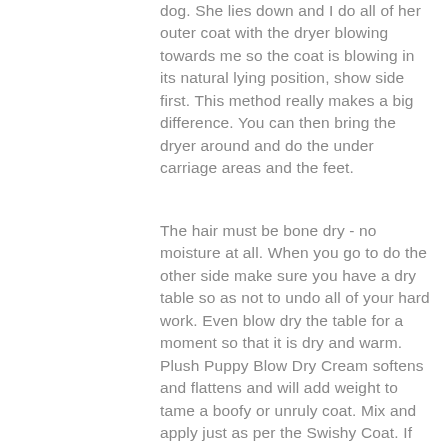dog. She lies down and I do all of her outer coat with the dryer blowing towards me so the coat is blowing in its natural lying position, show side first. This method really makes a big difference. You can then bring the dryer around and do the under carriage areas and the feet.
The hair must be bone dry - no moisture at all. When you go to do the other side make sure you have a dry table so as not to undo all of your hard work. Even blow dry the table for a moment so that it is dry and warm. Plush Puppy Blow Dry Cream softens and flattens and will add weight to tame a boofy or unruly coat. Mix and apply just as per the Swishy Coat. If you have a coat that needs straightening and de-boofing you can mix Swishy Coat and Blow Dry Cream in the same bottle and mix with water if you like. Use a tablespoon of Swishy Coat and a teaspoon of Blow Dry Cream. Increase the Blow Dry Cream ratio if required. The Puffy Dog Firm Hold Styling Mousse is fantastic for the hocks